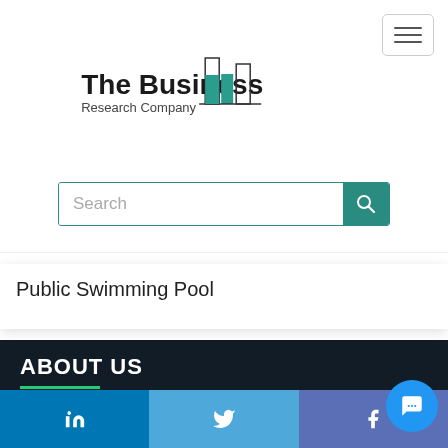[Figure (logo): The Business Research Company logo with teal bar chart icon]
[Figure (screenshot): Hamburger menu button (three horizontal lines) in top-right corner]
Search
Public Swimming Pool
ABOUT US
→ Why Us?
[Figure (infographic): Social media bar with LinkedIn, Twitter, and Facebook icons]
[Figure (infographic): Blue circular chat/messaging button in bottom-right corner]